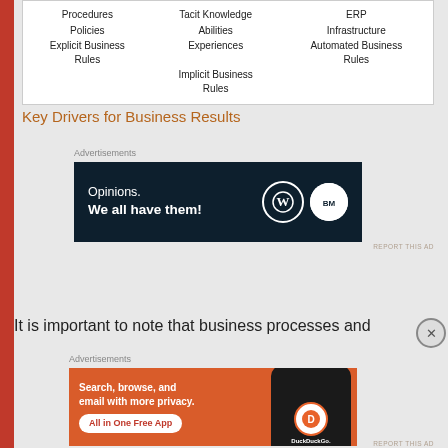|  |  |  |
| --- | --- | --- |
| Procedures | Tacit Knowledge | ERP |
| Policies | Abilities | Infrastructure |
| Explicit Business Rules | Experiences | Automated Business Rules |
|  | Implicit Business Rules |  |
Key Drivers for Business Results
[Figure (other): Advertisement banner: dark navy background with text 'Opinions. We all have them!' and WordPress and BuddyPress logos]
It is important to note that business processes and
[Figure (other): Advertisement banner: orange background with DuckDuckGo app promotion. Text: 'Search, browse, and email with more privacy. All in One Free App'. Shows a phone with DuckDuckGo logo.]